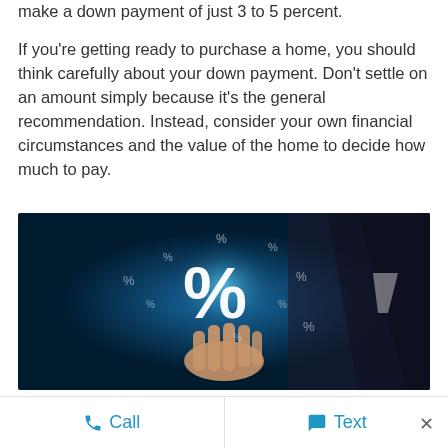make a down payment of just 3 to 5 percent.
If you're getting ready to purchase a home, you should think carefully about your down payment. Don't settle on an amount simply because it's the general recommendation. Instead, consider your own financial circumstances and the value of the home to decide how much to pay.
[Figure (photo): A person in a dark suit holding up a glowing percent symbol (%) with smaller percent symbols floating around it against a dark blue background.]
Call   Text